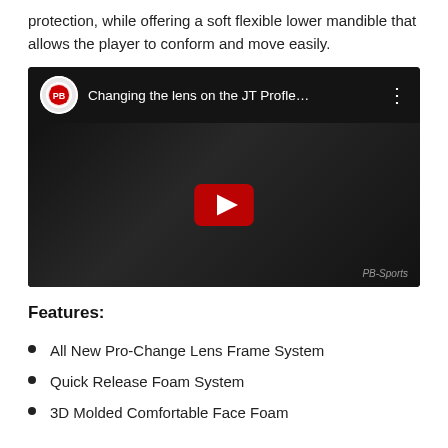protection, while offering a soft flexible lower mandible that allows the player to conform and move easily.
[Figure (screenshot): YouTube video thumbnail showing 'Changing the lens on the JT Profle…' with a dark background image of a paintball mask, a play button in the center, and the PB Sports logo in the top left corner.]
Features:
All New Pro-Change Lens Frame System
Quick Release Foam System
3D Molded Comfortable Face Foam